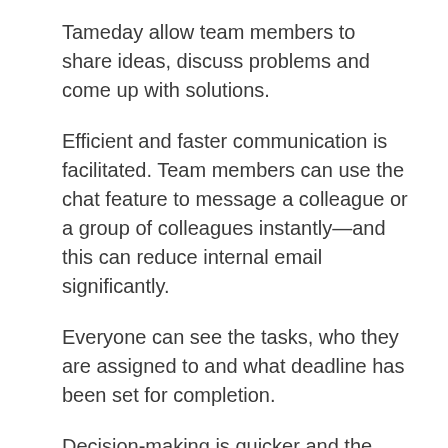Tameday allow team members to share ideas, discuss problems and come up with solutions.
Efficient and faster communication is facilitated. Team members can use the chat feature to message a colleague or a group of colleagues instantly—and this can reduce internal email significantly.
Everyone can see the tasks, who they are assigned to and what deadline has been set for completion.
Decision-making is quicker and the need for